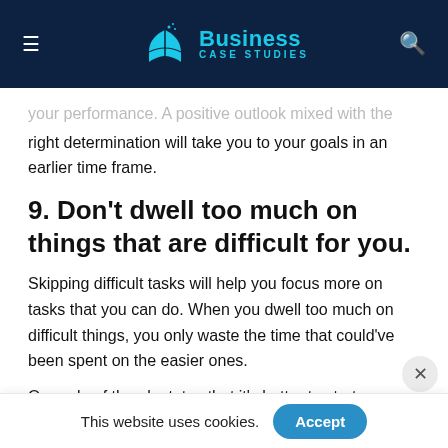Business Case Studies
your performance. A positive outlook mixed with the right determination will take you to your goals in an earlier time frame.
9. Don't dwell too much on things that are difficult for you.
Skipping difficult tasks will help you focus more on tasks that you can do. When you dwell too much on difficult things, you only waste the time that could've been spent on the easier ones.
One rule of thumb states that it's better to start on more manageable tasks then move forward to the difficult ones after finishing them. This rule will help you focus
This website uses cookies. Accept